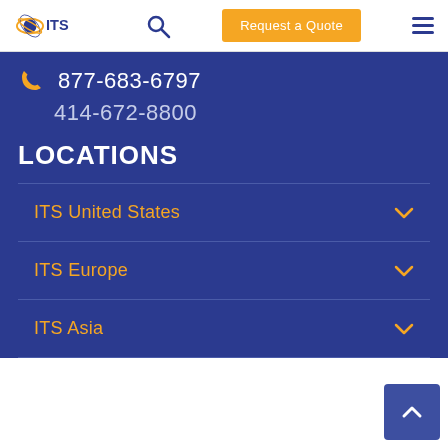ITS logo, search, Request a Quote, hamburger menu
877-683-6797
414-672-8800
LOCATIONS
ITS United States
ITS Europe
ITS Asia